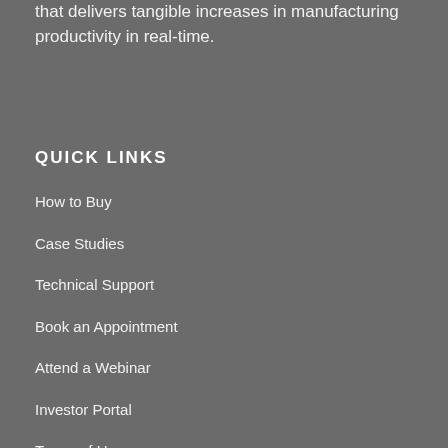that delivers tangible increases in manufacturing productivity in real-time.
QUICK LINKS
How to Buy
Case Studies
Technical Support
Book an Appointment
Attend a Webinar
Investor Portal
Terms of Use